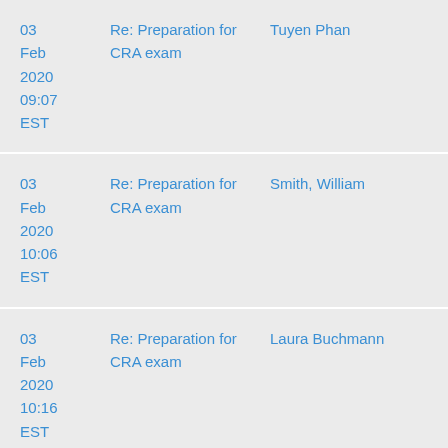| Date | Subject | Sender |
| --- | --- | --- |
| 03 Feb 2020 09:07 EST | Re: Preparation for CRA exam | Tuyen Phan |
| 03 Feb 2020 10:06 EST | Re: Preparation for CRA exam | Smith, William |
| 03 Feb 2020 10:16 EST | Re: Preparation for CRA exam | Laura Buchmann |